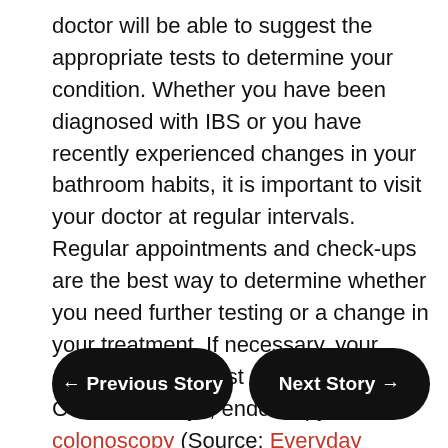doctor will be able to suggest the appropriate tests to determine your condition. Whether you have been diagnosed with IBS or you have recently experienced changes in your bathroom habits, it is important to visit your doctor at regular intervals. Regular appointments and check-ups are the best way to determine whether you need further testing or a change in your treatment. If necessary, your doctor may suggest some blood work, CT scan, X-rays, endoscopy or a colonoscopy (Source: Everyday Health).
← Previous Story
Next Story →